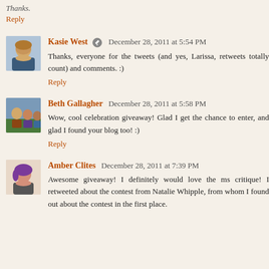Thanks.
Reply
Kasie West  December 28, 2011 at 5:54 PM
Thanks, everyone for the tweets (and yes, Larissa, retweets totally count) and comments. :)
Reply
Beth Gallagher  December 28, 2011 at 5:58 PM
Wow, cool celebration giveaway! Glad I get the chance to enter, and glad I found your blog too! :)
Reply
Amber Clites  December 28, 2011 at 7:39 PM
Awesome giveaway! I definitely would love the ms critique! I retweeted about the contest from Natalie Whipple, from whom I found out about the contest in the first place.